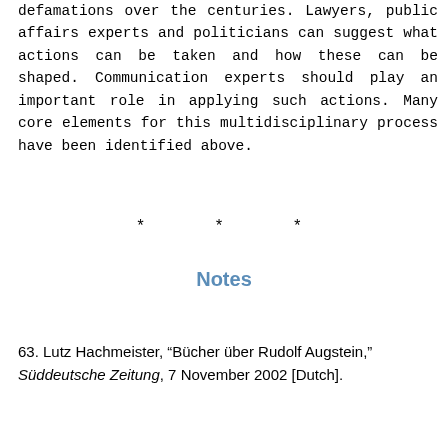defamations over the centuries. Lawyers, public affairs experts and politicians can suggest what actions can be taken and how these can be shaped. Communication experts should play an important role in applying such actions. Many core elements for this multidisciplinary process have been identified above.
* * *
Notes
63. Lutz Hachmeister, “Bücher über Rudolf Augstein,” Süddeutsche Zeitung, 7 November 2002 [Dutch].